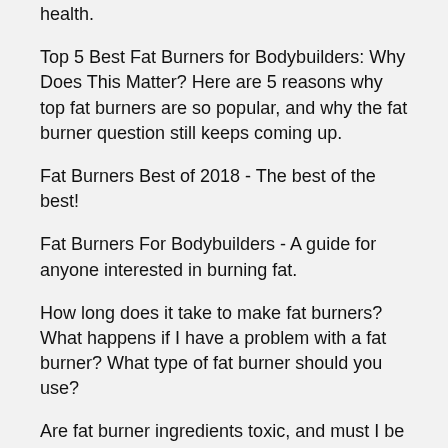health.
Top 5 Best Fat Burners for Bodybuilders: Why Does This Matter? Here are 5 reasons why top fat burners are so popular, and why the fat burner question still keeps coming up.
Fat Burners Best of 2018 - The best of the best!
Fat Burners For Bodybuilders - A guide for anyone interested in burning fat.
How long does it take to make fat burners? What happens if I have a problem with a fat burner? What type of fat burner should you use?
Are fat burner ingredients toxic, and must I be careful?
Is there a better alternative?